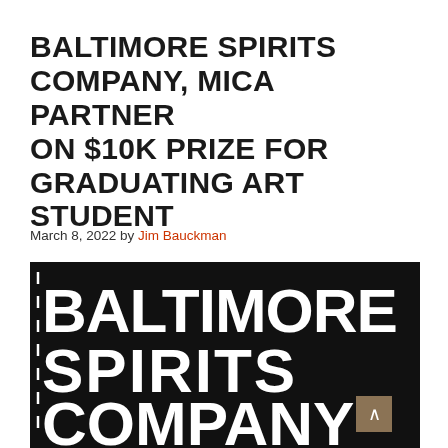BALTIMORE SPIRITS COMPANY, MICA PARTNER ON $10K PRIZE FOR GRADUATING ART STUDENT
March 8, 2022 by Jim Bauckman
[Figure (logo): Baltimore Spirits Company logo — white hand-drawn lettering on black background reading BALTIMORE SPIRITS COMPANY]